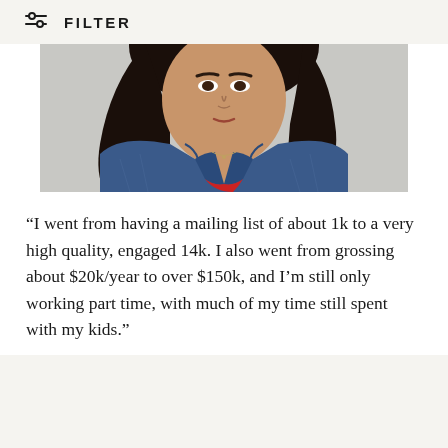FILTER
[Figure (photo): Woman with dark hair wearing a blue denim jacket over a red top, photographed from shoulders up against a light background.]
“I went from having a mailing list of about 1k to a very high quality, engaged 14k. I also went from grossing about $20k/year to over $150k, and I’m still only working part time, with much of my time still spent with my kids.”